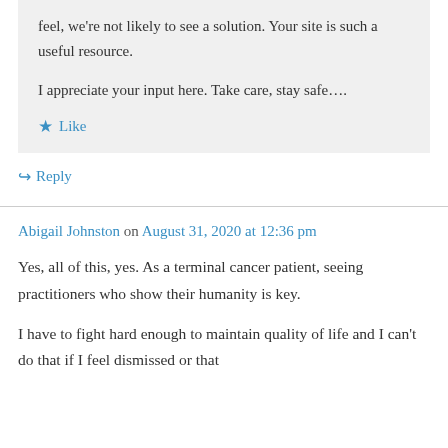feel, we're not likely to see a solution. Your site is such a useful resource.
I appreciate your input here. Take care, stay safe….
★ Like
↪ Reply
Abigail Johnston on August 31, 2020 at 12:36 pm
Yes, all of this, yes. As a terminal cancer patient, seeing practitioners who show their humanity is key.
I have to fight hard enough to maintain quality of life and I can't do that if I feel dismissed or that